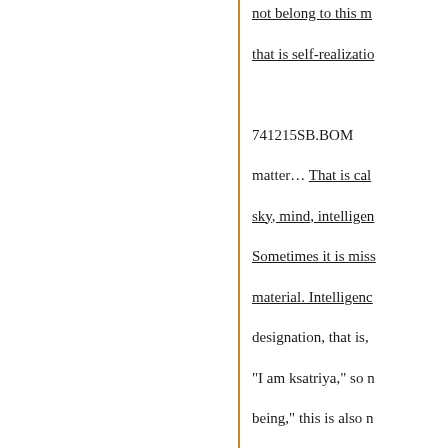not belong to this m…
that is self-realizatio…
741215SB.BOM
matter… That is cal…
sky, mind, intelligen…
Sometimes it is miss…
material. Intelligenc…
designation, that is,
"I am ksatriya," so n…
being," this is also n…